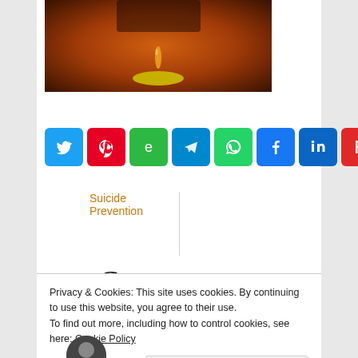[Figure (photo): Photograph showing a drop falling onto a coin against a warm orange-brown background]
Suicide Prevention
[Figure (infographic): Row of social media share buttons: Twitter, Pinterest, Evernote, Telegram, WhatsApp, Facebook, LinkedIn, Flipboard]
Comments
Privacy & Cookies: This site uses cookies. By continuing to use this website, you agree to their use.
To find out more, including how to control cookies, see here: Cookie Policy
Close and accept